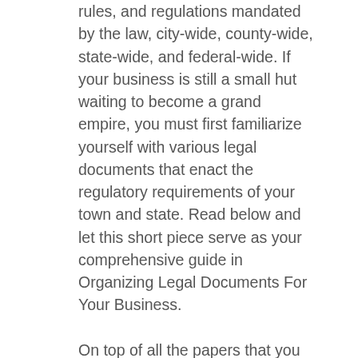rules, and regulations mandated by the law, city-wide, county-wide, state-wide, and federal-wide. If your business is still a small hut waiting to become a grand empire, you must first familiarize yourself with various legal documents that enact the regulatory requirements of your town and state. Read below and let this short piece serve as your comprehensive guide in Organizing Legal Documents For Your Business.
On top of all the papers that you need to prepare for your enterprise are various business licenses. States, counties, cities, and municipalities have their own policies as to what type, size, and industry of business must be under their governance. In organizing legal documents, these licenses and proofs of business registration are very crucial in as much as they carry the very foundation and existence of the company. Among the business licenses that you will need to secure for your enterprise are sales tax licenses, which basically give you the authority to charge your clients sales taxes...